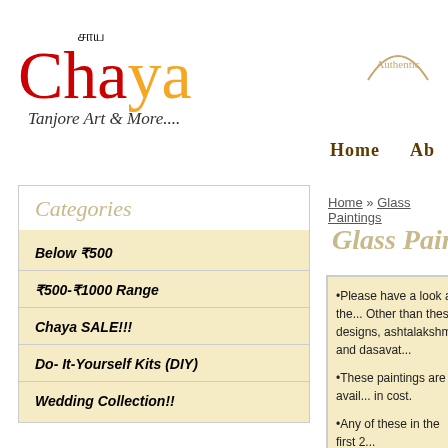[Figure (logo): Chaya Tanjore Art & More website logo with Tamil script above, 'Chaya' in red and orange cursive, and tagline 'Tanjore Art & More....' in italic script]
[Figure (illustration): Circular 'Authentic' badge outline in tan/gold color]
Home   Abo
Home » Glass Paintings
Glass Painti...
Categories
Below ₹500
₹500-₹1000 Range
Chaya SALE!!!
Do- It-Yourself Kits (DIY)
Wedding Collection!!
•Please have a look at the... Other than these designs, ashtalakshmi and dasavat...
•These paintings are avail... in cost.
•Any of these in the first 2...